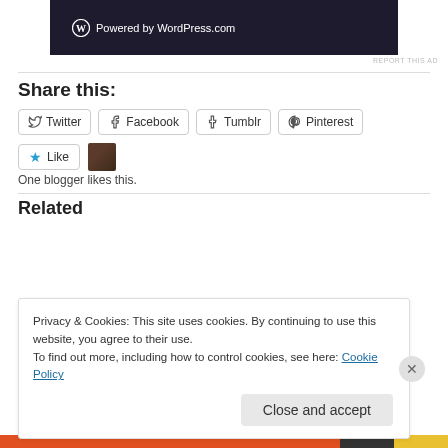[Figure (screenshot): WordPress.com banner with logo and 'Powered by WordPress.com' text on dark background]
REPORT THIS AD
Share this:
Twitter  Facebook  Tumblr  Pinterest
★ Like   [avatar]
One blogger likes this.
Related
Privacy & Cookies: This site uses cookies. By continuing to use this website, you agree to their use.
To find out more, including how to control cookies, see here: Cookie Policy
Close and accept